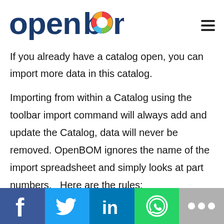OpenBOM
If you already have a catalog open, you can import more data in this catalog.
Importing from within a Catalog using the toolbar import command will always add and update the Catalog, data will never be removed. OpenBOM ignores the name of the import spreadsheet and simply looks at part numbers.   Here are the rules:
1- If the part number exists in the existing Catalog
[Figure (other): Social media share bar with Facebook, Twitter, LinkedIn, WhatsApp, and more buttons]